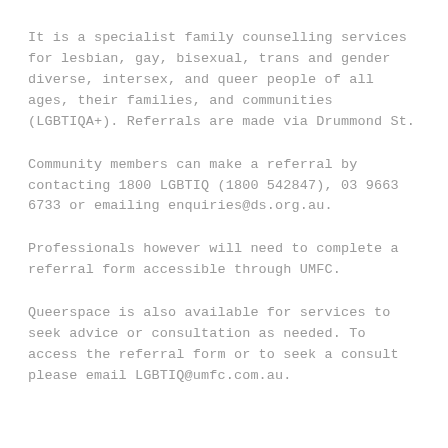It is a specialist family counselling services for lesbian, gay, bisexual, trans and gender diverse, intersex, and queer people of all ages, their families, and communities (LGBTIQA+). Referrals are made via Drummond St.
Community members can make a referral by contacting 1800 LGBTIQ (1800 542847), 03 9663 6733 or emailing enquiries@ds.org.au.
Professionals however will need to complete a referral form accessible through UMFC.
Queerspace is also available for services to seek advice or consultation as needed. To access the referral form or to seek a consult please email LGBTIQ@umfc.com.au.